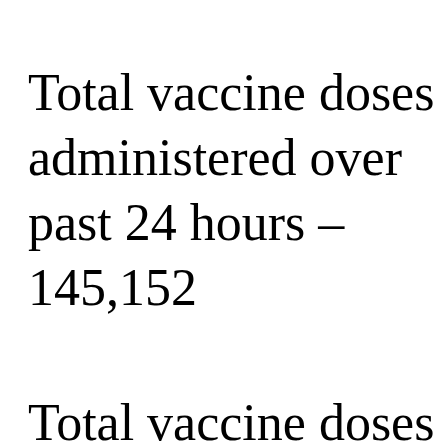Total vaccine doses administered over past 24 hours – 145,152
Total vaccine doses